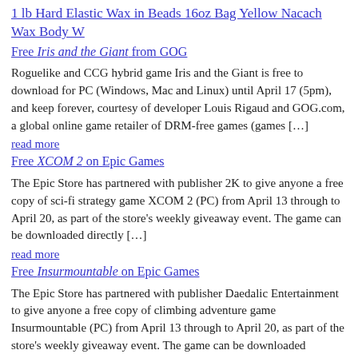1 lb Hard Elastic Wax in Beads 16oz Bag Yellow Nacach Wax Body W
Free Iris and the Giant from GOG
Roguelike and CCG hybrid game Iris and the Giant is free to download for PC (Windows, Mac and Linux) until April 17 (5pm), and keep forever, courtesy of developer Louis Rigaud and GOG.com, a global online game retailer of DRM-free games (games […]
read more
Free XCOM 2 on Epic Games
The Epic Store has partnered with publisher 2K to give anyone a free copy of sci-fi strategy game XCOM 2 (PC) from April 13 through to April 20, as part of the store's weekly giveaway event. The game can be downloaded directly […]
read more
Free Insurmountable on Epic Games
The Epic Store has partnered with publisher Daedalic Entertainment to give anyone a free copy of climbing adventure game Insurmountable (PC) from April 13 through to April 20, as part of the store's weekly giveaway event. The game can be downloaded directly […]